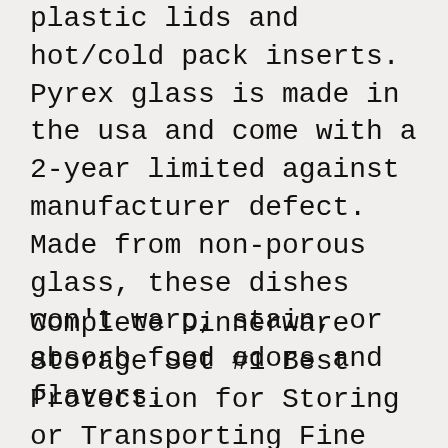plastic lids and hot/cold pack inserts. Pyrex glass is made in the usa and come with a 2-year limited against manufacturer defect. Made from non-porous glass, these dishes won't warp, stain, or absorb food odors and flavors.
Complete Dinnerware Storage Set #1 Best Protection for Storing or Transporting Fine China Dishes Coffee Tea Cups Wine Glasses Includes 48 Felt Protectors for Plates
Complete Dinnerware Storage Set #1 Best